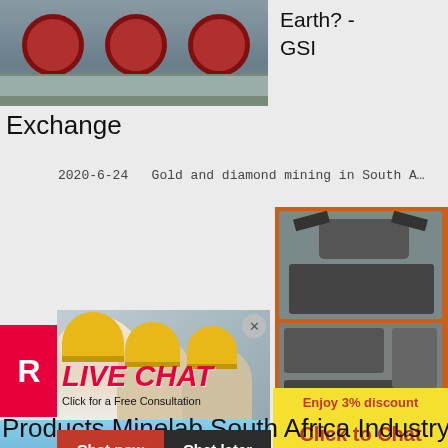[Figure (photo): Industrial machinery/conveyor equipment photo at top left]
Earth? - GSI
Exchange
2020-6-24   Gold and diamond mining in South A…
[Figure (photo): Orange sidebar with mining equipment images]
[Figure (photo): Red R block on left side]
[Figure (photo): Workers in hard hats with LIVE CHAT overlay - Click for a Free Consultation, Chat now, Chat later buttons]
[Figure (photo): Industrial plant/factory photo at bottom]
Enjoy 3% discount
Click to Chat
Enquiry
limingjlmofen @sina.com
Products Minelab South Africa Industry